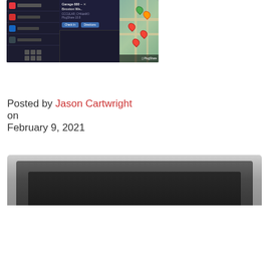[Figure (screenshot): Car infotainment screen showing PlugShare app with map and charging station markers]
Posted by Jason Cartwright
on
February 9, 2021
[Figure (photo): Close-up of a dark car charging port or trim detail]